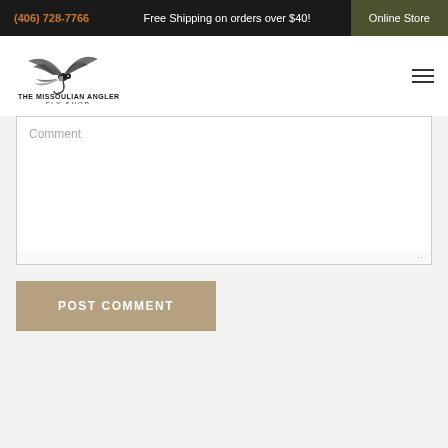(406) 728-7766   Free Shipping on orders over $40!   Online Store
[Figure (logo): The Missoulian Angler Fly Shop logo with fly fishing lure illustration and text]
Comment
POST COMMENT